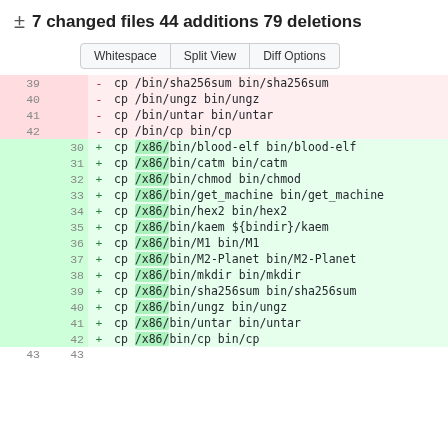± 7 changed files 44 additions 79 deletions
[Figure (screenshot): Three buttons: Whitespace, Split View, Diff Options]
| old_line | new_line | sign | code |
| --- | --- | --- | --- |
| 39 |  | - | cp /bin/sha256sum bin/sha256sum |
| 40 |  | - | cp /bin/ungz bin/ungz |
| 41 |  | - | cp /bin/untar bin/untar |
| 42 |  | - | cp /bin/cp bin/cp |
|  | 30 | + | cp /x86/bin/blood-elf bin/blood-elf |
|  | 31 | + | cp /x86/bin/catm bin/catm |
|  | 32 | + | cp /x86/bin/chmod bin/chmod |
|  | 33 | + | cp /x86/bin/get_machine bin/get_machine |
|  | 34 | + | cp /x86/bin/hex2 bin/hex2 |
|  | 35 | + | cp /x86/bin/kaem ${bindir}/kaem |
|  | 36 | + | cp /x86/bin/M1 bin/M1 |
|  | 37 | + | cp /x86/bin/M2-Planet bin/M2-Planet |
|  | 38 | + | cp /x86/bin/mkdir bin/mkdir |
|  | 39 | + | cp /x86/bin/sha256sum bin/sha256sum |
|  | 40 | + | cp /x86/bin/ungz bin/ungz |
|  | 41 | + | cp /x86/bin/untar bin/untar |
|  | 42 | + | cp /x86/bin/cp bin/cp |
| 43 | 43 |  |  |